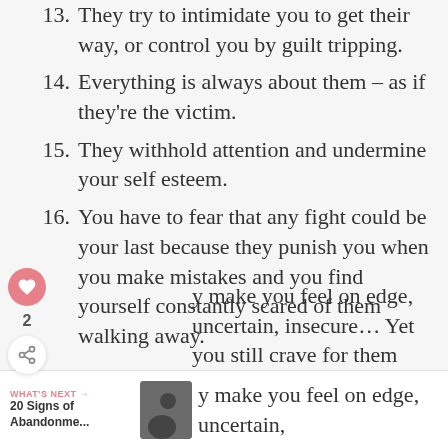13. They try to intimidate you to get their way, or control you by guilt tripping.
14. Everything is always about them – as if they're the victim.
15. They withhold attention and undermine your self esteem.
16. You have to fear that any fight could be your last because they punish you when you make mistakes and you find yourself constantly scared of them walking away.
y make you feel on edge, uncertain, insecure… Yet you still crave for them
WHAT'S NEXT → 20 Signs of Abandonme...